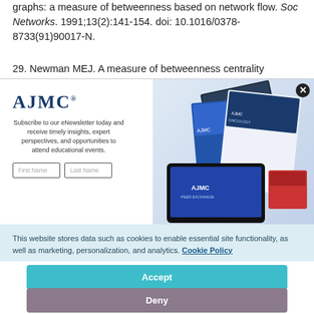graphs: a measure of betweenness based on network flow. Soc Networks. 1991;13(2):141-154. doi: 10.1016/0378-8733(91)90017-N.
29. Newman MEJ. A measure of betweenness centrality
[Figure (screenshot): AJMC newsletter subscription modal with logo, text 'Subscribe to our eNewsletter today and receive timely insights, expert perspectives, and opportunities to attend educational events.', First Name and Last Name input fields, and magazine images on the right. A close button is in the top right corner.]
This website stores data such as cookies to enable essential site functionality, as well as marketing, personalization, and analytics. Cookie Policy
Accept
Deny